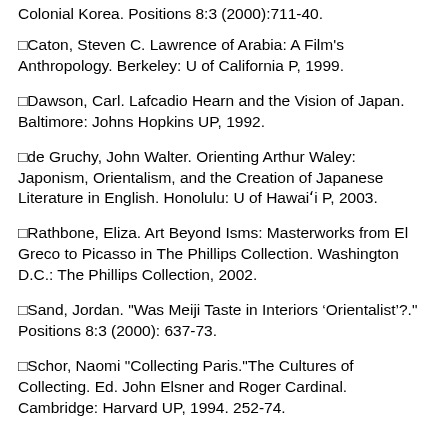Colonial Korea. Positions 8:3 (2000):711-40.
Caton, Steven C. Lawrence of Arabia: A Film's Anthropology. Berkeley: U of California P, 1999.
Dawson, Carl. Lafcadio Hearn and the Vision of Japan. Baltimore: Johns Hopkins UP, 1992.
de Gruchy, John Walter. Orienting Arthur Waley: Japonism, Orientalism, and the Creation of Japanese Literature in English. Honolulu: U of Hawai'i P, 2003.
Rathbone, Eliza. Art Beyond Isms: Masterworks from El Greco to Picasso in The Phillips Collection. Washington D.C.: The Phillips Collection, 2002.
Sand, Jordan. "Was Meiji Taste in Interiors 'Orientalist'?". Positions 8:3 (2000): 637-73.
Schor, Naomi "Collecting Paris."The Cultures of Collecting. Ed. John Elsner and Roger Cardinal. Cambridge: Harvard UP, 1994. 252-74.